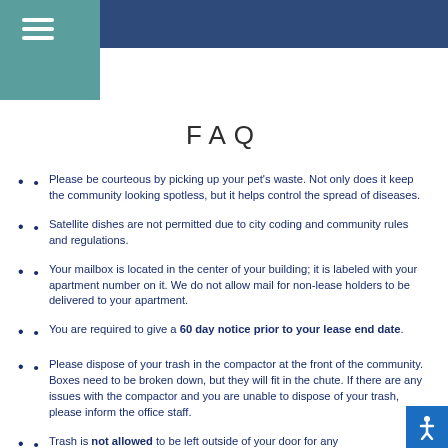FAQ
Please be courteous by picking up your pet's waste. Not only does it keep the community looking spotless, but it helps control the spread of diseases.
Satellite dishes are not permitted due to city coding and community rules and regulations.
Your mailbox is located in the center of your building; it is labeled with your apartment number on it. We do not allow mail for non-lease holders to be delivered to your apartment.
You are required to give a 60 day notice prior to your lease end date.
Please dispose of your trash in the compactor at the front of the community. Boxes need to be broken down, but they will fit in the chute. If there are any issues with the compactor and you are unable to dispose of your trash, please inform the office staff.
Trash is not allowed to be left outside of your door for any